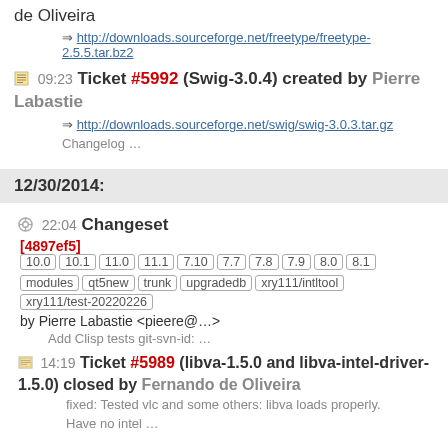de Oliveira
⇒ http://downloads.sourceforge.net/freetype/freetype-2.5.5.tar.bz2
09:23 Ticket #5992 (Swig-3.0.4) created by Pierre Labastie
⇒ http://downloads.sourceforge.net/swig/swig-3.0.3.tar.gz
Changelog …
12/30/2014:
22:04 Changeset
[4897ef5] 10.0 10.1 11.0 11.1 7.10 7.7 7.8 7.9 8.0 8.1 modules qt5new trunk upgradedb xry111/intltool xry111/test-20220226 by Pierre Labastie <pieere@…>
Add Clisp tests git-svn-id: …
14:19 Ticket #5989 (libva-1.5.0 and libva-intel-driver-1.5.0) closed by Fernando de Oliveira
fixed: Tested vlc and some others: libva loads properly. Have no intel …